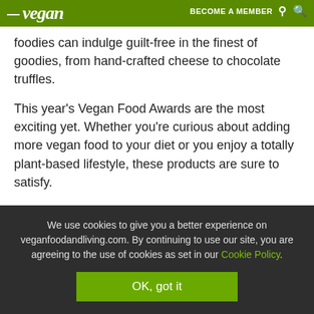vegan | BECOME A MEMBER
foodies can indulge guilt-free in the finest of goodies, from hand-crafted cheese to chocolate truffles.
This year's Vegan Food Awards are the most exciting yet. Whether you're curious about adding more vegan food to your diet or you enjoy a totally plant-based lifestyle, these products are sure to satisfy.
BEST DAIRY-FREE MILK
Koko Dairy Free Original + Calcium
We use cookies to give you a better experience on veganfoodandliving.com. By continuing to use our site, you are agreeing to the use of cookies as set in our Cookie Policy.